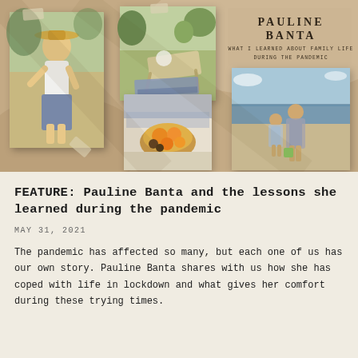[Figure (photo): Collage of lifestyle photos on a kraft/tan background: a woman wearing a sun hat sitting outdoors (left), an outdoor picnic scene with a lounge chair on grass (center-top), a close-up of food and textiles with oranges (center-bottom), and a parent and child walking on a beach (right). Text overlay reads 'PAULINE BANTA' and 'WHAT I LEARNED ABOUT FAMILY LIFE DURING THE PANDEMIC'.]
FEATURE: Pauline Banta and the lessons she learned during the pandemic
MAY 31, 2021
The pandemic has affected so many, but each one of us has our own story. Pauline Banta shares with us how she has coped with life in lockdown and what gives her comfort during these trying times.